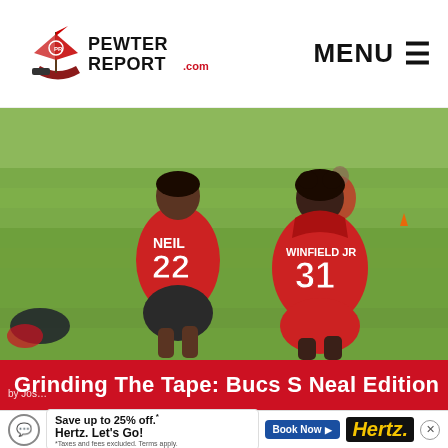PewterReport.com | MENU ☰
[Figure (photo): Two Tampa Bay Buccaneers players wearing red jerseys numbered 22 (NEIL) and 31 (WINFIELD JR) walking on a green practice field, seen from behind.]
Grinding The Tape: Bucs S Neal Edition
Save up to 25% off.* Hertz. Let's Go! *Taxes and fees excluded. Terms apply. | Book Now | Hertz